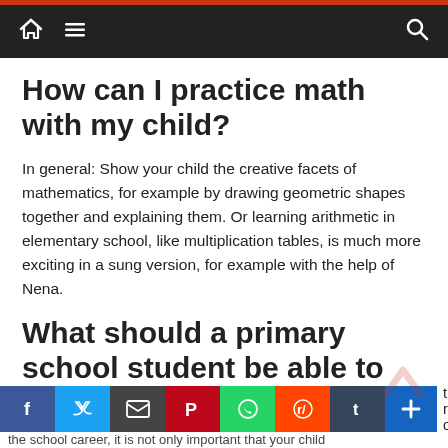Navigation bar with home, menu, and search icons
How can I practice math with my child?
In general: Show your child the creative facets of mathematics, for example by drawing geometric shapes together and explaining them. Or learning arithmetic in elementary school, like multiplication tables, is much more exciting in a sung version, for example with the help of Nena.
What should a primary school student be able to do for the second grade?
the school career, it is not only important that your child